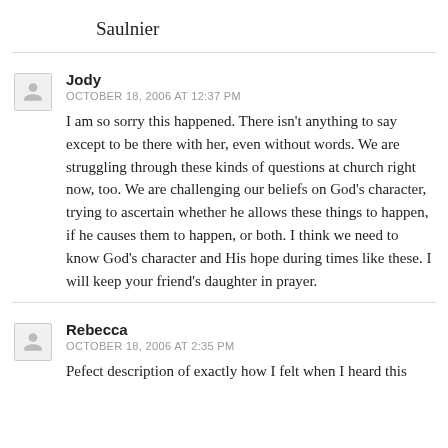Saulnier
Jody
OCTOBER 18, 2006 AT 12:37 PM
I am so sorry this happened. There isn't anything to say except to be there with her, even without words. We are struggling through these kinds of questions at church right now, too. We are challenging our beliefs on God's character, trying to ascertain whether he allows these things to happen, if he causes them to happen, or both. I think we need to know God's character and His hope during times like these. I will keep your friend's daughter in prayer.
Rebecca
OCTOBER 18, 2006 AT 2:35 PM
Pefect description of exactly how I felt when I heard this